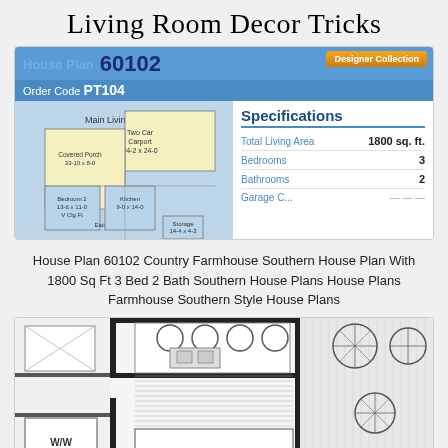Living Room Decor Tricks
[Figure (engineering-diagram): House Plan 60102 floor plan showing main living space, covered porch, two car carport, bedrooms, kitchen, dining area, and storage with specifications panel showing Total Living Area 1800 sq ft, 3 Bedrooms, 2 Bathrooms. Header shows House Plan 60102 with Order Code PT104 and Designer Collection badge.]
House Plan 60102 Country Farmhouse Southern House Plan With 1800 Sq Ft 3 Bed 2 Bath Southern House Plans House Plans Farmhouse Southern Style House Plans
[Figure (engineering-diagram): Architectural floor plan showing kitchen layout with sink, appliances, closet with washer/dryer (W/W), and adjacent space with circular decorative elements. Close button visible at bottom.]